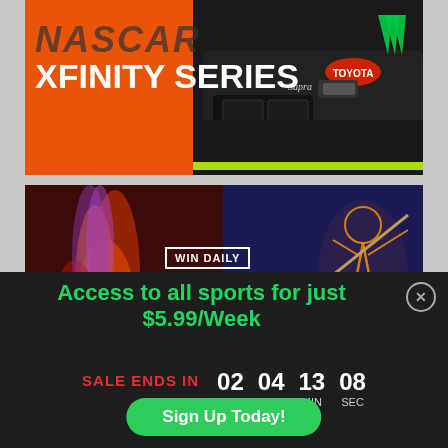[Figure (photo): NASCAR Xfinity Series banner with orange background, white bold text 'XFINITY SERIES' and a Toyota Supra race car on the right with Monster Energy livery]
[Figure (photo): Win Daily sports fantasy banner with fire/flame visuals on left and glowing athlete figure on right, 'WIN DAILY' badge text overlay, partial large white text at bottom]
Access to all sports for just $5.99/Week
SALE ENDS IN  02 DAY  04 HRS  13 MIN  08 SEC
Sign Up Today!